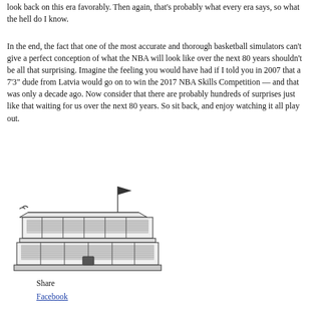look back on this era favorably. Then again, that's probably what every era says, so what the hell do I know.
In the end, the fact that one of the most accurate and thorough basketball simulators can't give a perfect conception of what the NBA will look like over the next 80 years shouldn't be all that surprising. Imagine the feeling you would have had if I told you in 2007 that a 7'3" dude from Latvia would go on to win the 2017 NBA Skills Competition — and that was only a decade ago. Now consider that there are probably hundreds of surprises just like that waiting for us over the next 80 years. So sit back, and enjoy watching it all play out.
[Figure (illustration): A pen-and-ink style illustration of an old-fashioned two-story sports stadium or grandstand with a flag on top, spectators visible in the stands, and a small entrance at the bottom.]
Share
Facebook